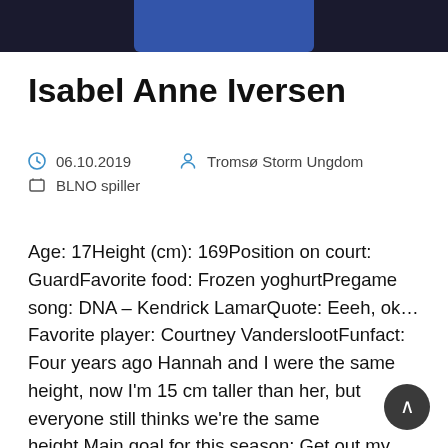[Figure (photo): Top portion of a photo showing a person in a blue jersey, cropped at the shoulders, against a dark background]
Isabel Anne Iversen
06.10.2019   Tromsø Storm Ungdom
BLNO spiller
Age: 17Height (cm): 169Position on court: GuardFavorite food: Frozen yoghurtPregame song: DNA – Kendrick LamarQuote: Eeeh, ok…Favorite player: Courtney VanderslootFunfact: Four years ago Hannah and I were the same height, now I'm 15 cm taller than her, but everyone still thinks we're the same height.Main goal for this season: Get out my comfort zone...